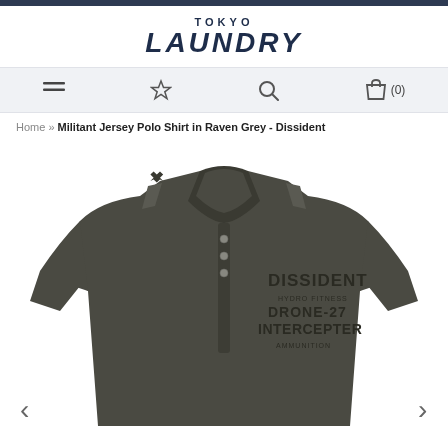[Figure (logo): Tokyo Laundry brand logo — serif/slab italic font, dark navy text on white background]
[Figure (infographic): Navigation bar with hamburger menu icon, star/wishlist icon, search icon, and shopping bag icon with (0) count]
Home » Militant Jersey Polo Shirt in Raven Grey - Dissident
[Figure (photo): Product photo of a dark grey (Raven Grey) Militant Jersey Polo Shirt by Dissident, showing graphic text on chest reading DISSIDENT, HYDRO FITNESS / DRONE-27 / INTERCEPTER / AMMUNITION, with epaulette shoulder details and button placket]